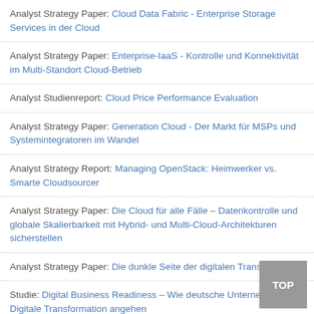Analyst Strategy Paper: Cloud Data Fabric - Enterprise Storage Services in der Cloud
Analyst Strategy Paper: Enterprise-IaaS - Kontrolle und Konnektivität im Multi-Standort Cloud-Betrieb
Analyst Studienreport: Cloud Price Performance Evaluation
Analyst Strategy Paper: Generation Cloud - Der Markt für MSPs und Systemintegratoren im Wandel
Analyst Strategy Report: Managing OpenStack: Heimwerker vs. Smarte Cloudsourcer
Analyst Strategy Paper: Die Cloud für alle Fälle – Datenkontrolle und globale Skalierbarkeit mit Hybrid- und Multi-Cloud-Architekturen sicherstellen
Analyst Strategy Paper: Die dunkle Seite der digitalen Transformation
Studie: Digital Business Readiness – Wie deutsche Unternehmen die Digitale Transformation angehen